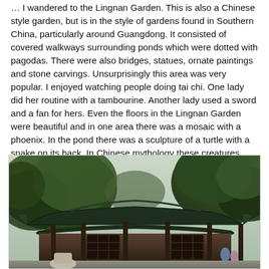… I wandered to the Lingnan Garden. This is also a Chinese style garden, but is in the style of gardens found in Southern China, particularly around Guangdong. It consisted of covered walkways surrounding ponds which were dotted with pagodas. There were also bridges, statues, ornate paintings and stone carvings. Unsurprisingly this area was very popular. I enjoyed watching people doing tai chi. One lady did her routine with a tambourine. Another lady used a sword and a fan for hers. Even the floors in the Lingnan Garden were beautiful and in one area there was a mosaic with a phoenix. In the pond there was a sculpture of a turtle with a snake on its back. In Chinese mythology these creatures symbolize longevity.
[Figure (photo): A photograph of a traditional Chinese pavilion with a curved roof, surrounded by trees. The pavilion has dark wooden columns and latticed walls typical of Southern Chinese garden architecture. The sky is overcast and trees frame the structure on both sides.]